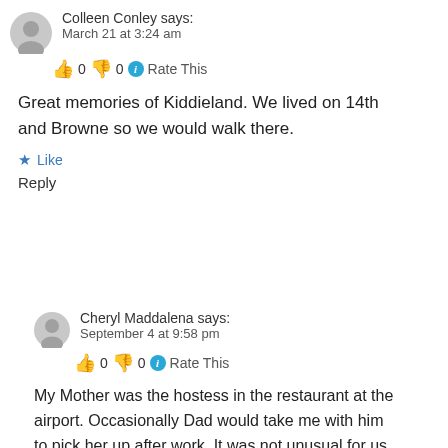Colleen Conley says: March 21 at 3:24 am  👍 0 👎 0 ℹ Rate This
Great memories of Kiddieland. We lived on 14th and Browne so we would walk there.
★ Like
Reply
Cheryl Maddalena says: September 4 at 9:58 pm  👍 0 👎 0 ℹ Rate This
My Mother was the hostess in the restaurant at the airport. Occasionally Dad would take me with him to pick her up after work. It was not unusual for us to stop at Kiddieland so I could ride the live